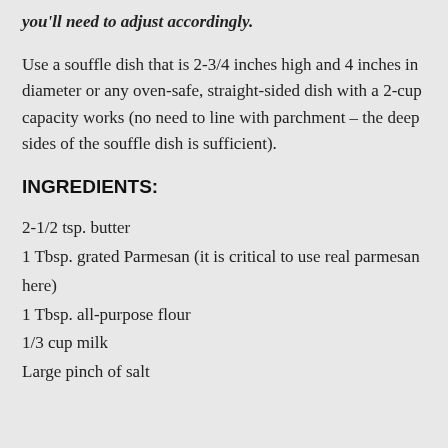you'll need to adjust accordingly.
Use a souffle dish that is 2-3/4 inches high and 4 inches in diameter or any oven-safe, straight-sided dish with a 2-cup capacity works (no need to line with parchment – the deep sides of the souffle dish is sufficient).
INGREDIENTS:
2-1/2 tsp. butter
1 Tbsp. grated Parmesan (it is critical to use real parmesan here)
1 Tbsp. all-purpose flour
1/3 cup milk
Large pinch of salt